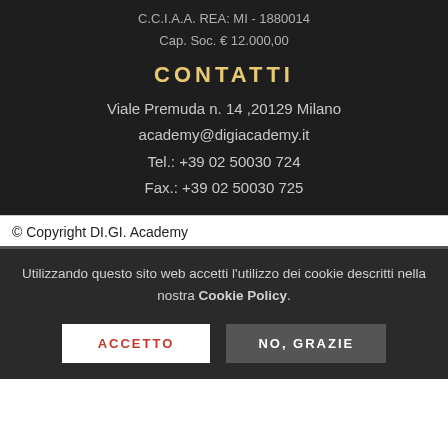C.C.I.A.A. REA: MI - 1880014
Cap. Soc. € 12.000,00
CONTATTI
Viale Premuda n. 14 ,20129 Milano
academy@digiacademy.it
Tel.: +39 02 50030 724
Fax.: +39 02 50030 725
© Copyright DI.GI. Academy
Utilizzando questo sito web accetti l'utilizzo dei cookie descritti nella nostra Cookie Policy.
ACCETTO
NO, GRAZIE